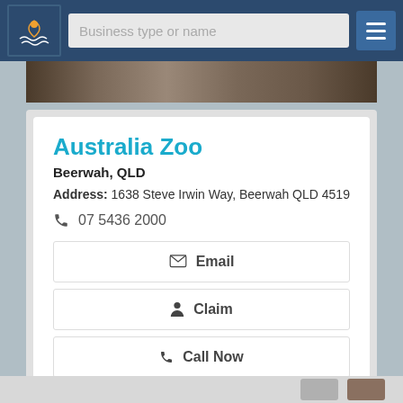[Figure (screenshot): Navigation bar with logo, search input placeholder 'Business type or name', and hamburger menu icon]
[Figure (photo): Partial photo strip showing people at a zoo or tourist attraction]
Australia Zoo
Beerwah, QLD
Address: 1638 Steve Irwin Way, Beerwah QLD 4519
07 5436 2000
Email
Claim
Call Now
View Details